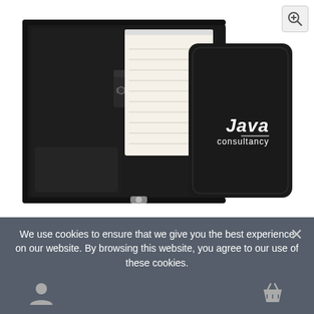[Figure (photo): Product photo showing a black leather zip-around padfolio/portfolio folder open on the left showing interior with USB holder, pen loop and notepad, and closed on the right with 'Java consultancy' logo printed in white on the cover.]
We use cookies to ensure that we give you the best experience on our website. By browsing this website, you agree to our use of these cookies.